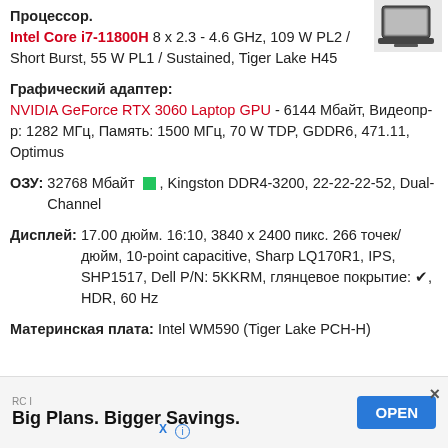Процессор: Intel Core i7-11800H 8 x 2.3 - 4.6 GHz, 109 W PL2 / Short Burst, 55 W PL1 / Sustained, Tiger Lake H45
[Figure (photo): Laptop product thumbnail image, dark gray laptop shown from top-right angle]
Графический адаптер: NVIDIA GeForce RTX 3060 Laptop GPU - 6144 Мбайт, Видеопр-р: 1282 МГц, Память: 1500 МГц, 70 W TDP, GDDR6, 471.11, Optimus
ОЗУ: 32768 Мбайт [green], Kingston DDR4-3200, 22-22-22-52, Dual-Channel
Дисплей: 17.00 дюйм. 16:10, 3840 x 2400 пикс. 266 точек/дюйм, 10-point capacitive, Sharp LQ170R1, IPS, SHP1517, Dell P/N: 5KKRM, глянцевое покрытие: ✔, HDR, 60 Hz
Материнская плата: Intel WM590 (Tiger Lake PCH-H)
[Figure (screenshot): Advertisement banner: RC I Big Plans. Bigger Savings. OPEN button with close X button]